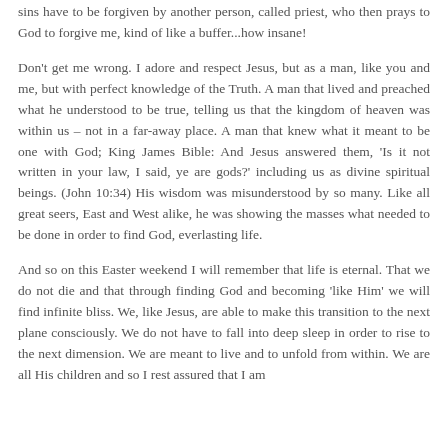sins have to be forgiven by another person, called priest, who then prays to God to forgive me, kind of like a buffer...how insane!
Don't get me wrong. I adore and respect Jesus, but as a man, like you and me, but with perfect knowledge of the Truth. A man that lived and preached what he understood to be true, telling us that the kingdom of heaven was within us – not in a far-away place. A man that knew what it meant to be one with God; King James Bible: And Jesus answered them, 'Is it not written in your law, I said, ye are gods?' including us as divine spiritual beings. (John 10:34) His wisdom was misunderstood by so many. Like all great seers, East and West alike, he was showing the masses what needed to be done in order to find God, everlasting life.
And so on this Easter weekend I will remember that life is eternal. That we do not die and that through finding God and becoming 'like Him' we will find infinite bliss. We, like Jesus, are able to make this transition to the next plane consciously. We do not have to fall into deep sleep in order to rise to the next dimension. We are meant to live and to unfold from within. We are all His children and so I rest assured that I am